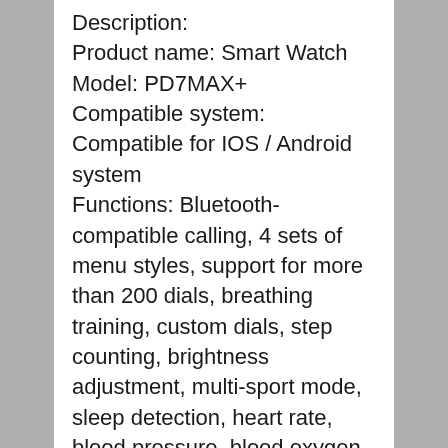Description:
Product name: Smart Watch
Model: PD7MAX+
Compatible system: Compatible for IOS / Android system
Functions: Bluetooth-compatible calling, 4 sets of menu styles, support for more than 200 dials, breathing training, custom dials, step counting, brightness adjustment, multi-sport mode, sleep detection, heart rate, blood pressure, blood oxygen, information push, remote music, remote Photo, real-time weather, find mobile phone (connected to mobile phone), Bluetooth-compatible music